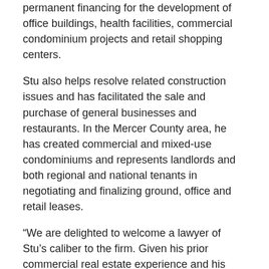permanent financing for the development of office buildings, health facilities, commercial condominium projects and retail shopping centers.
Stu also helps resolve related construction issues and has facilitated the sale and purchase of general businesses and restaurants. In the Mercer County area, he has created commercial and mixed-use condominiums and represents landlords and both regional and national tenants in negotiating and finalizing ground, office and retail leases.
“We are delighted to welcome a lawyer of Stu’s caliber to the firm. Given his prior commercial real estate experience and his strong reputation in the Mercer County area, he will be a great asset to our clients and the firm.” said Managing Partner Michael Kahme.
“I am thrilled to be joining Hill Wallack. I chose the firm for a number of reasons, including its reputation among the leading firms in New Jersey, its full-service platform and most of all, its people, many of whom I have known for years,” said Stu.
Stu is very active in the New Jersey legal community where he has been a member of the New Jersey State Bar Association, the Princeton Bar Association and the Mercer County Bar Association’s Real Estate